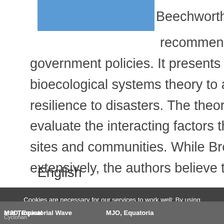[Figure (other): Blue rectangular box in upper left area, partially visible]
Beechworth, Bendigo, Ingham a… recommendations for emergenc… government policies. It presents a study that use… bioecological systems theory to analyse individu… resilience to disasters. The theory provided a co… evaluate the interacting factors that support resil… sites and communities. While Bronfenbrenner's t… extensively, the authors believe that this is the fi…
English
Cookies are necessary for our services to work well; By using our services, you accept the use of cookies.
MJO, Equatorial Wave… and Tropical … MJO, Equatoria…